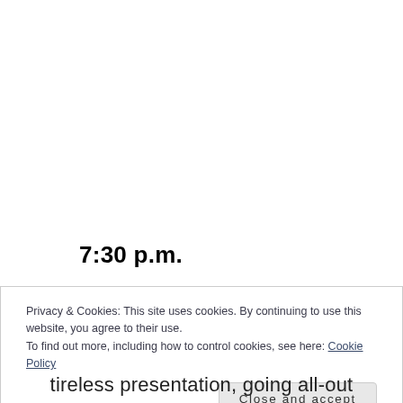7:30 p.m.
Privacy & Cookies: This site uses cookies. By continuing to use this website, you agree to their use.
To find out more, including how to control cookies, see here: Cookie Policy
Close and accept
tireless presentation, going all-out